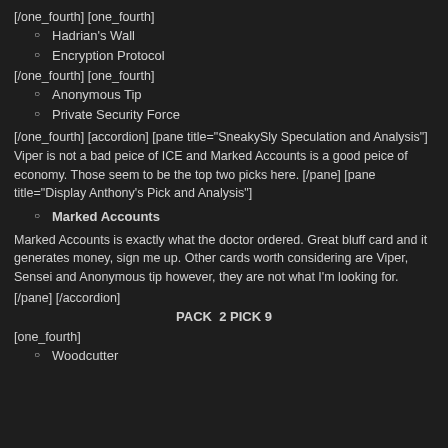[/one_fourth] [one_fourth]
Hadrian's Wall
Encryption Protocol
[/one_fourth] [one_fourth]
Anonymous Tip
Private Security Force
[/one_fourth] [accordion] [pane title="SneakySly Speculation and Analysis"] Viper is not a bad peice of ICE and Marked Accounts is a good peice of economy. Those seem to be the top two picks here. [/pane] [pane title="Display Anthony's Pick and Analysis"]
Marked Accounts
Marked Accounts is exactly what the doctor ordered. Great bluff card and it generates money, sign me up. Other cards worth considering are Viper, Sensei and Anonymous tip however, they are not what I'm looking for.
[/pane] [/accordion]
PACK  2 PICK 9
[one_fourth]
Woodcutter